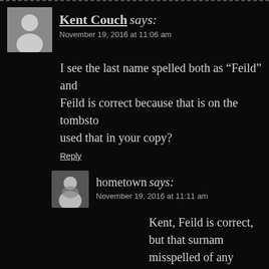Kent Couch says:
November 19, 2016 at 11:06 am
I see the last name spelled both as “Feild” and Feild is correct because that is on the tombsto used that in your copy?
Reply
hometown says:
November 19, 2016 at 11:11 am
Kent, Feild is correct, but that surnam misspelled of any name in Fort Worth an eye on autocorrect.
Kevin Foster says: